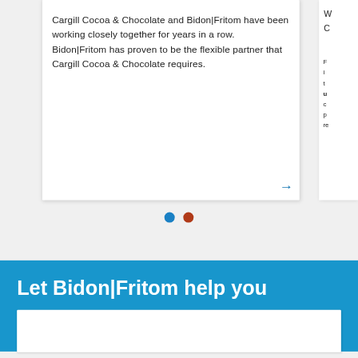Cargill Cocoa & Chocolate and Bidon|Fritom have been working closely together for years in a row. Bidon|Fritom has proven to be the flexible partner that Cargill Cocoa & Chocolate requires.
[Figure (other): Navigation dots: one blue filled circle and one dark red/brown filled circle indicating a carousel slide position.]
Let Bidon|Fritom help you